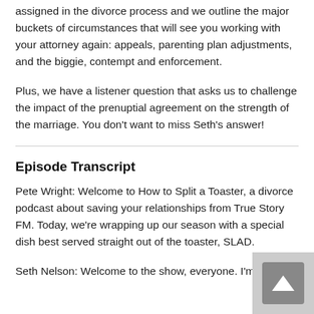assigned in the divorce process and we outline the major buckets of circumstances that will see you working with your attorney again: appeals, parenting plan adjustments, and the biggie, contempt and enforcement.
Plus, we have a listener question that asks us to challenge the impact of the prenuptial agreement on the strength of the marriage. You don't want to miss Seth's answer!
Episode Transcript
Pete Wright: Welcome to How to Split a Toaster, a divorce podcast about saving your relationships from True Story FM. Today, we're wrapping up our season with a special dish best served straight out of the toaster, SLAD.
Seth Nelson: Welcome to the show, everyone. I'm Seth